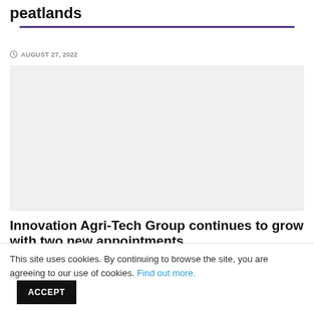peatlands
AUGUST 27, 2022
[Figure (photo): Large image placeholder with light gray background]
Innovation Agri-Tech Group continues to grow with two new appointments
This site uses cookies. By continuing to browse the site, you are agreeing to our use of cookies. Find out more. ACCEPT